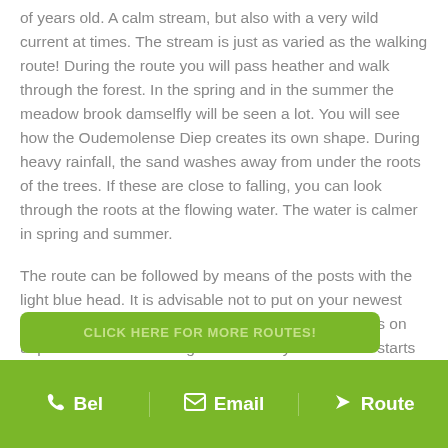of years old. A calm stream, but also with a very wild current at times. The stream is just as varied as the walking route! During the route you will pass heather and walk through the forest. In the spring and in the summer the meadow brook damselfly will be seen a lot. You will see how the Oudemolense Diep creates its own shape. During heavy rainfall, the sand washes away from under the roots of the trees. If these are close to falling, you can look through the roots at the flowing water. The water is calmer in spring and summer.
The route can be followed by means of the posts with the light blue head. It is advisable not to put on your newest shoes when walking this route. The route mostly runs on unpaved roads and along stream valleys. The route starts at the Molensteeg car park at Molensteeg 4 in Oudemolen.
[Figure (other): Green button partially visible: CLICK HERE FOR MORE ROUTES!]
Bel   Email   Route